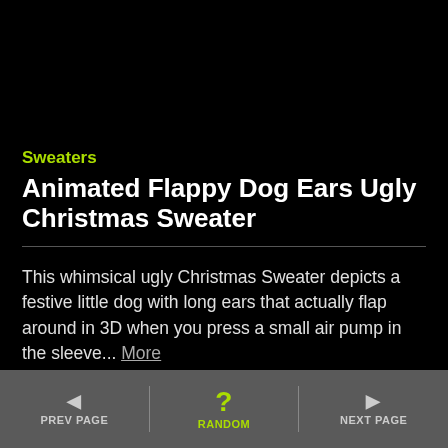Sweaters
Animated Flappy Dog Ears Ugly Christmas Sweater
This whimsical ugly Christmas Sweater depicts a festive little dog with long ears that actually flap around in 3D when you press a small air pump in the sleeve... More
► UglyChristmasSweater.com*
◄ PREV PAGE    ? RANDOM    ► NEXT PAGE